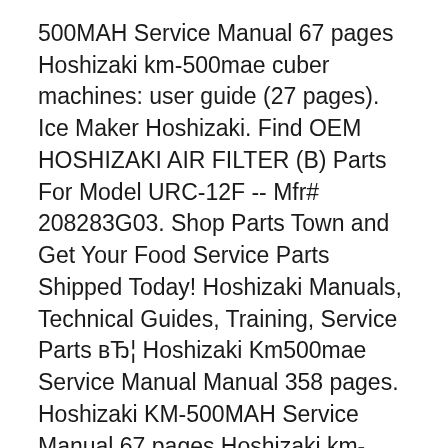500MAH Service Manual 67 pages Hoshizaki km-500mae cuber machines: user guide (27 pages). Ice Maker Hoshizaki. Find OEM HOSHIZAKI AIR FILTER (B) Parts For Model URC-12F -- Mfr# 208283G03. Shop Parts Town and Get Your Food Service Parts Shipped Today! Hoshizaki Manuals, Technical Guides, Training, Service Parts вЂ¦ Hoshizaki Km500mae Service Manual Manual 358 pages. Hoshizaki KM-500MAH Service Manual 67 pages Hoshizaki km-500mae cuber machines: user guide (27 pages). Ice Maker Hoshizaki. Find OEM HOSHIZAKI AIR FILTER (B) Parts For Model URC-12F -- Mfr# 208283G03. Shop Parts Town and Get Your Food Service Parts Shipped